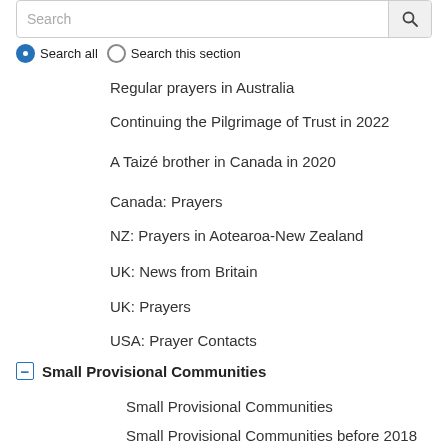Search
Search all  Search this section
Regular prayers in Australia
Continuing the Pilgrimage of Trust in 2022
A Taizé brother in Canada in 2020
Canada: Prayers
NZ: Prayers in Aotearoa-New Zealand
UK: News from Britain
UK: Prayers
USA: Prayer Contacts
Small Provisional Communities
Small Provisional Communities
Small Provisional Communities before 2018